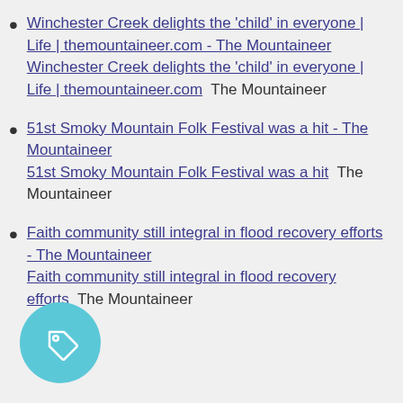Winchester Creek delights the 'child' in everyone | Life | themountaineer.com - The Mountaineer Winchester Creek delights the 'child' in everyone | Life | themountaineer.com  The Mountaineer
51st Smoky Mountain Folk Festival was a hit - The Mountaineer 51st Smoky Mountain Folk Festival was a hit  The Mountaineer
Faith community still integral in flood recovery efforts - The Mountaineer Faith community still integral in flood recovery efforts  The Mountaineer